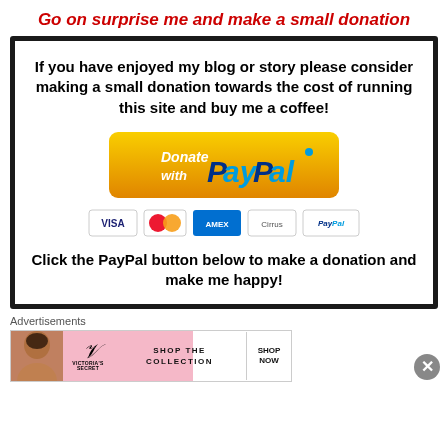Go on surprise me and make a small donation
If you have enjoyed my blog or story please consider making a small donation towards the cost of running this site and buy me a coffee!
[Figure (other): PayPal donate button - orange rounded rectangle with 'Donate with PayPal' text and PayPal logo, with payment card icons below (VISA, Mastercard, Amex, Cirrus, PayPal)]
Click the PayPal button below to make a donation and make me happy!
Advertisements
[Figure (other): Victoria's Secret advertisement banner with model photo, VS logo, 'SHOP THE COLLECTION' text and 'SHOP NOW' button]